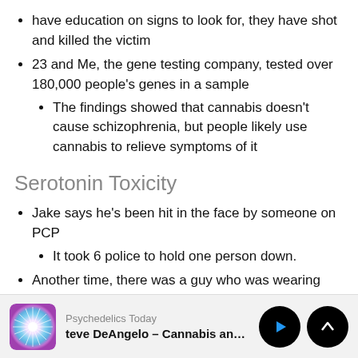have education on signs to look for, they have shot and killed the victim
23 and Me, the gene testing company, tested over 180,000 people's genes in a sample
The findings showed that cannabis doesn't cause schizophrenia, but people likely use cannabis to relieve symptoms of it
Serotonin Toxicity
Jake says he's been hit in the face by someone on PCP
It took 6 police to hold one person down.
Another time, there was a guy who was wearing underwear in freezing weather, punching cars driving at
Psychedelics Today — teve DeAngelo – Cannabis and Psyc